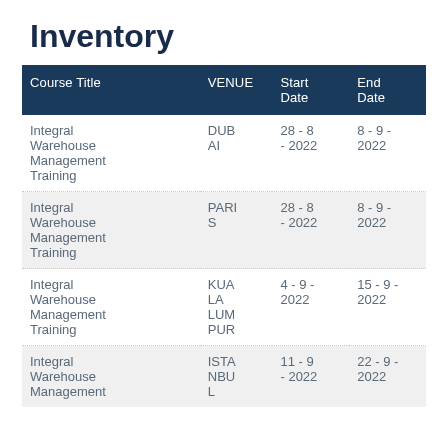Inventory
| Course Title | VENUE | Start Date | End Date |
| --- | --- | --- | --- |
| Integral Warehouse Management Training | DUB AI | 28 - 8 - 2022 | 8 - 9 - 2022 |
| Integral Warehouse Management Training | PARIS | 28 - 8 - 2022 | 8 - 9 - 2022 |
| Integral Warehouse Management Training | KUALA LUMPUR | 4 - 9 - 2022 | 15 - 9 - 2022 |
| Integral Warehouse Management | ISTANBUL | 11 - 9 - 2022 | 22 - 9 - 2022 |